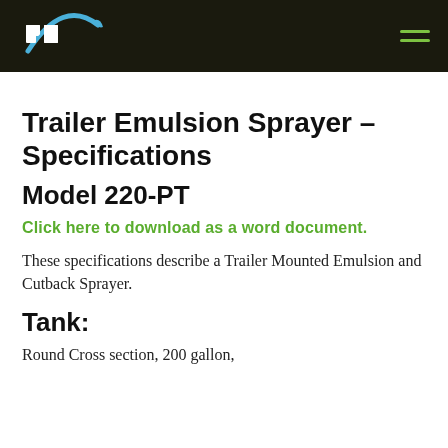PB logo and navigation header
Trailer Emulsion Sprayer – Specifications
Model 220-PT
Click here to download as a word document.
These specifications describe a Trailer Mounted Emulsion and Cutback Sprayer.
Tank:
Round Cross section, 200 gallon,